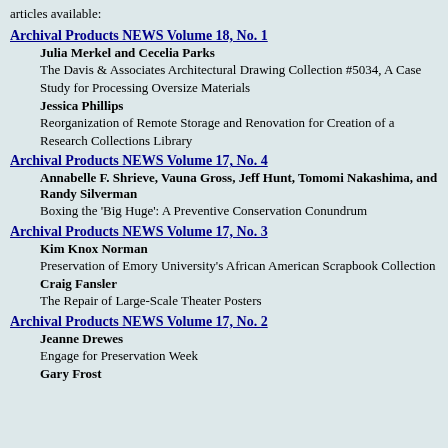articles available:
Archival Products NEWS Volume 18, No. 1
Julia Merkel and Cecelia Parks — The Davis & Associates Architectural Drawing Collection #5034, A Case Study for Processing Oversize Materials
Jessica Phillips — Reorganization of Remote Storage and Renovation for Creation of a Research Collections Library
Archival Products NEWS Volume 17, No. 4
Annabelle F. Shrieve, Vauna Gross, Jeff Hunt, Tomomi Nakashima, and Randy Silverman — Boxing the 'Big Huge': A Preventive Conservation Conundrum
Archival Products NEWS Volume 17, No. 3
Kim Knox Norman — Preservation of Emory University's African American Scrapbook Collection
Craig Fansler — The Repair of Large-Scale Theater Posters
Archival Products NEWS Volume 17, No. 2
Jeanne Drewes — Engage for Preservation Week
Gary Frost